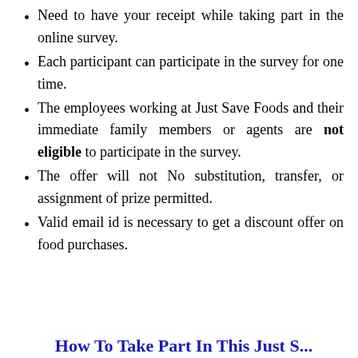Need to have your receipt while taking part in the online survey.
Each participant can participate in the survey for one time.
The employees working at Just Save Foods and their immediate family members or agents are not eligible to participate in the survey.
The offer will not No substitution, transfer, or assignment of prize permitted.
Valid email id is necessary to get a discount offer on food purchases.
How To Take Part In This Just S...